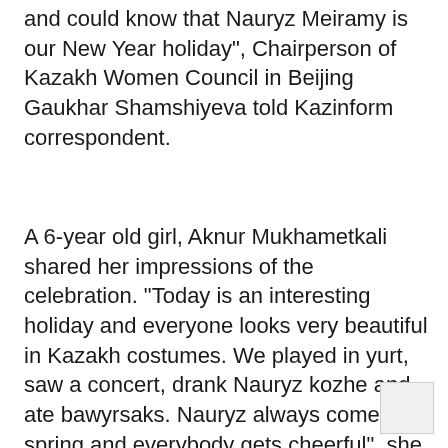and could know that Nauryz Meiramy is our New Year holiday", Chairperson of Kazakh Women Council in Beijing Gaukhar Shamshiyeva told Kazinform correspondent.
A 6-year old girl, Aknur Mukhametkali shared her impressions of the celebration. "Today is an interesting holiday and everyone looks very beautiful in Kazakh costumes. We played in yurt, saw a concert, drank Nauryz kozhe and ate bawyrsaks. Nauryz always comes in spring and everybody gets cheerful", she said.